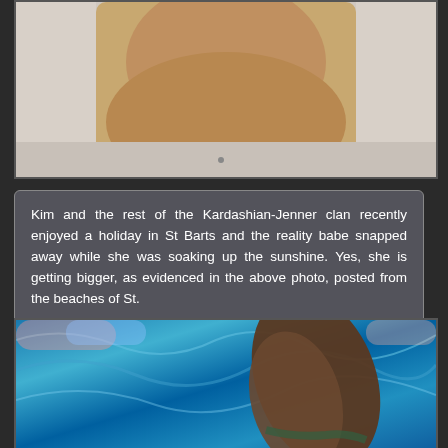[Figure (photo): A photo of a person's torso against a light background]
Kim and the rest of the Kardashian-Jenner clan recently enjoyed a holiday in St Barts and the reality babe snapped away while she was soaking up the sunshine. Yes, she is getting bigger, as evidenced in the above photo, posted from the beaches of St.
[Figure (photo): A photo showing legs against a blue satin/silk background]